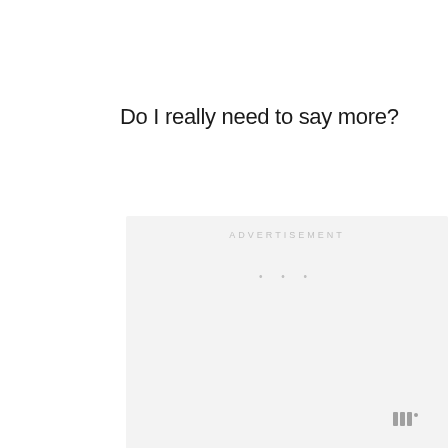Do I really need to say more?
[Figure (other): Advertisement placeholder box with light gray background, centered 'ADVERTISEMENT' label in light gray spaced text, and three small gray dots below it indicating loading or placeholder state.]